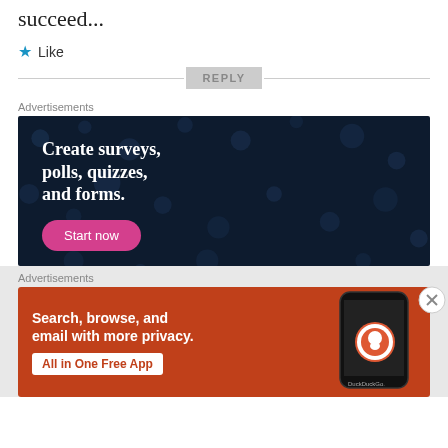succeed...
★ Like
REPLY
Advertisements
[Figure (infographic): Dark navy background ad with polka dot pattern. Text: 'Create surveys, polls, quizzes, and forms.' with a pink 'Start now' button.]
Advertisements
[Figure (infographic): Orange background DuckDuckGo ad. Text: 'Search, browse, and email with more privacy. All in One Free App' with DuckDuckGo logo on phone mockup.]